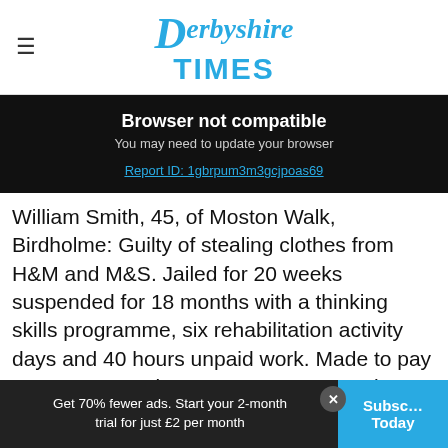Derbyshire Times
Browser not compatible
You may need to update your browser
Report ID: 1gbrpum3m3gcjpoas69
William Smith, 45, of Moston Walk, Birdholme: Guilty of stealing clothes from H&M and M&S. Jailed for 20 weeks suspended for 18 months with a thinking skills programme, six rehabilitation activity days and 40 hours unpaid work. Made to pay £50 compensation, £85 court costs and a £128 victim surcharge.
Get 70% fewer ads. Start your 2-month trial for just £2 per month   Subscribe Today